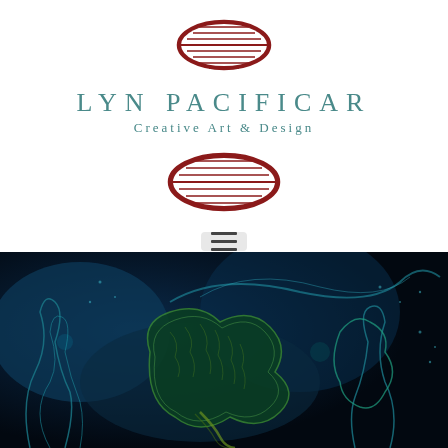[Figure (logo): Red decorative leaf/feather logo mark at top center]
LYN PACIFICAR
Creative Art & Design
[Figure (logo): Red decorative leaf/feather logo mark, second instance below title]
[Figure (other): Hamburger menu icon (three horizontal lines) inside a light grey rounded rectangle]
[Figure (illustration): Dark blue underwater/abstract painting showing bioluminescent sea creature forms with glowing teal outlines, coral-like textures, and deep blue background]